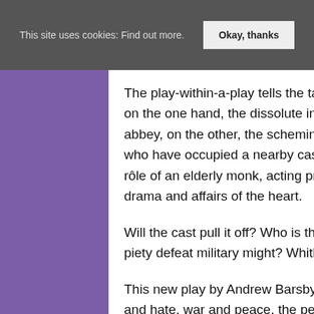This site uses cookies: Find out more.  Okay, thanks
The play-within-a-play tells the tale of an ancient power struggle: on the one hand, the dissolute inhabitants of a mouldering abbey, on the other, the scheming Veiled Lady and her retinue, who have occupied a nearby castle. For Martin, in the reluctant rôle of an elderly monk, acting proves to be no escape from drama and affairs of the heart.
Will the cast pull it off? Who is the mysterious Veiled Lady? Can piety defeat military might? Whither the Cavalcade of Fools?
This new play by Andrew Barsby is a joyful investigation into love and hate, war and peace, the perverse splendour of human relations and the sheer unreliability of Fate.